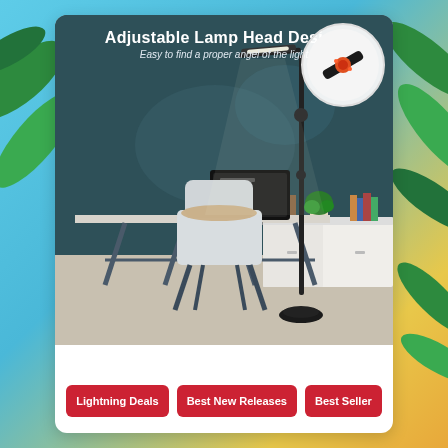[Figure (photo): Product advertisement showing an adjustable floor lamp in a modern office/living room scene with a desk, computer monitor, white chair, and cabinet. A circular inset shows a close-up of the adjustable lamp head mechanism with a red clamp. Text overlay reads 'Adjustable Lamp Head Design' and 'Easy to find a proper angel of the light'.]
Lightning Deals
Best New Releases
Best Seller